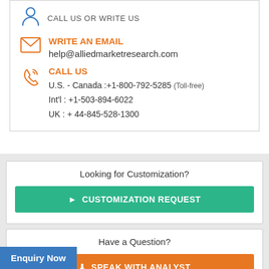CALL US OR WRITE US
WRITE AN EMAIL
help@alliedmarketresearch.com
CALL US
U.S. - Canada :+1-800-792-5285 (Toll-free)
Int'l : +1-503-894-6022
UK : + 44-845-528-1300
Looking for Customization?
CUSTOMIZATION REQUEST
Have a Question?
SPEAK WITH ANALYST
Enquiry Now